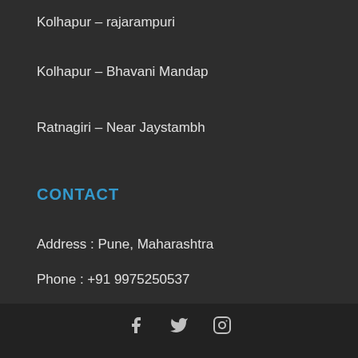Kolhapur – rajarampuri
Kolhapur – Bhavani Mandap
Ratnagiri – Near Jaystambh
CONTACT
Address : Pune, Maharashtra
Phone : +91 9975250537
Email : disha1008@yahoo.co.in
Social icons: Facebook, Twitter, Instagram